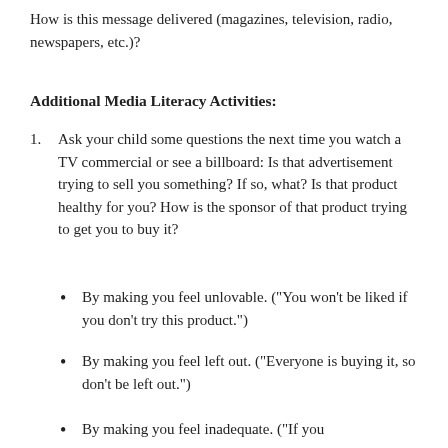How is this message delivered (magazines, television, radio, newspapers, etc.)?
Additional Media Literacy Activities:
Ask your child some questions the next time you watch a TV commercial or see a billboard: Is that advertisement trying to sell you something? If so, what? Is that product healthy for you? How is the sponsor of that product trying to get you to buy it?
By making you feel unlovable. ("You won't be liked if you don't try this product.")
By making you feel left out. ("Everyone is buying it, so don't be left out.")
By making you feel inadequate. ("If you